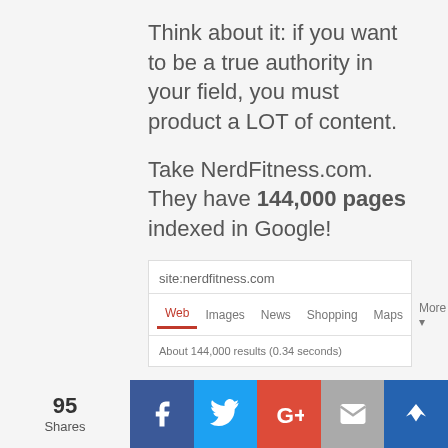Think about it: if you want to be a true authority in your field, you must product a LOT of content.
Take NerdFitness.com. They have 144,000 pages indexed in Google!
[Figure (screenshot): Google search screenshot showing 'site:nerdfitness.com' with tabs Web, Images, News, Shopping, Maps, More, Search tools and result 'About 144,000 results (0.34 seconds)']
Of course, that doesn't mean that they actually wrote 144,000 pieces of content, but that gives you the idea of the type of scale they operate on.